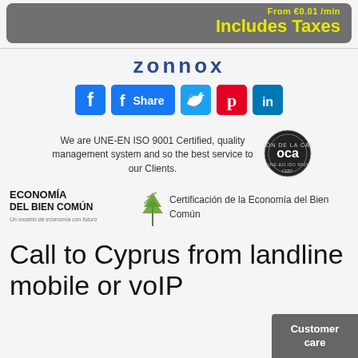Includes Taxes
zonnox
[Figure (logo): Social media share buttons: Facebook like, Facebook share, Twitter, Pinterest, LinkedIn]
We are UNE-EN ISO 9001 Certified, quality management system and so the best service to our Clients.
[Figure (logo): OCA certification badge circular logo]
[Figure (logo): Economia del Bien Comun logo with tree graphic]
Certificación de la Economía del Bien Común
Call to Cyprus from landline mobile or voIP
Customer care